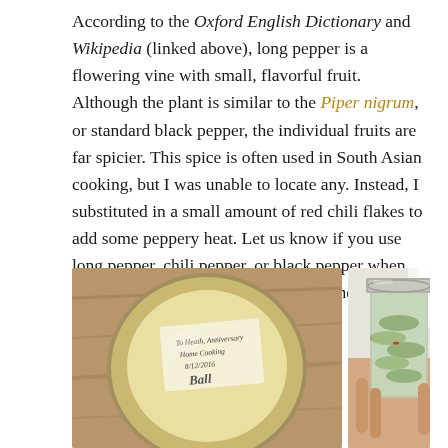According to the Oxford English Dictionary and Wikipedia (linked above), long pepper is a flowering vine with small, flavorful fruit. Although the plant is similar to the Piper nigrum, or standard black pepper, the individual fruits are far spicier. This spice is often used in South Asian cooking, but I was unable to locate any. Instead, I substituted in a small amount of red chili flakes to add some peppery heat. Let us know if you use long pepper, chili pepper, or black pepper when you make these pickles! I've made some suggestions in the recipe below.
[Figure (photo): Two photos side by side. Left: top-down view of a Ball mason jar with a handwritten label on the lid reading 'To Heath, Anniversary, Home Cooking, 8/12/2016' and the Ball logo. Right: a hand holding a mason jar filled with pickled cucumber slices visible through the glass, with a silver lid.]